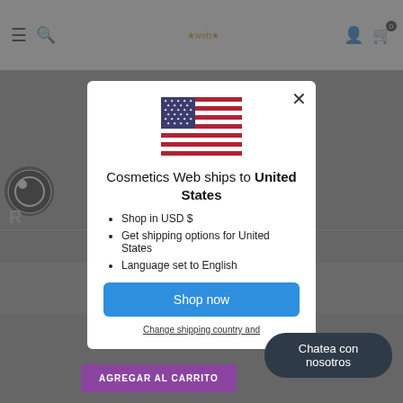[Figure (screenshot): Website header with hamburger menu, search icon, logo, user icon, and cart icon showing 0 items]
[Figure (illustration): US flag icon at top of modal dialog]
Cosmetics Web ships to United States
Shop in USD $
Get shipping options for United States
Language set to English
Shop now
Change shipping country and
Chatea con nosotros
AGREGAR AL CARRITO